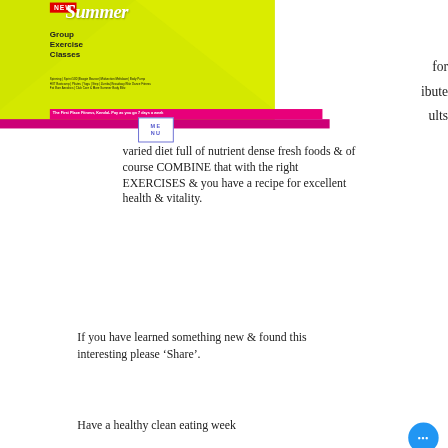[Figure (infographic): Fitness advertisement banner: 'NEW Summer Group Exercise Classes' on yellow-green background with exercising people, listing class types (Spinning, Sprint 500, Boogie Bounce, Midsection Meltdown, Body Pump, HIIT Bootcamp, Pilates, Yoga, Step, Zumba, Broadway Blitz Dance Fitness, Fat Burn Aerobics, Club Core & More Summer Body Blitz). Pink bar at bottom: 'The First Place Fitness, Kendal- Pay as you go 7 days a week'. Partial text visible on right: 'for', 'ibute', 'ults'. Blue/purple MENU button overlay.]
varied diet full of nutrient dense fresh foods & of course COMBINE that with the right EXERCISES & you have a recipe for excellent health & vitality.
If you have learned something new & found this interesting please ‘Share’.
Have a healthy clean eating week